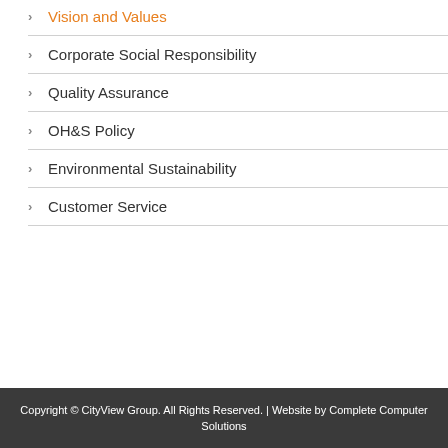Vision and Values
Corporate Social Responsibility
Quality Assurance
OH&S Policy
Environmental Sustainability
Customer Service
Copyright © CityView Group. All Rights Reserved. | Website by Complete Computer Solutions